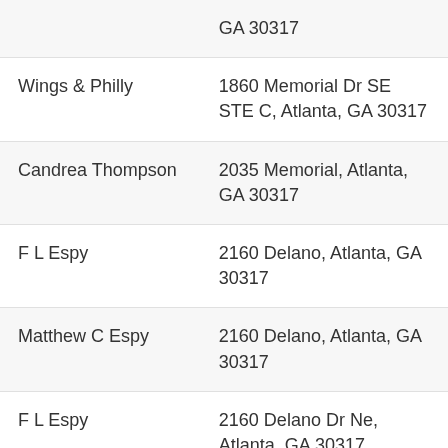| Name | Address |
| --- | --- |
|  | GA 30317 |
| Wings & Philly | 1860 Memorial Dr SE STE C, Atlanta, GA 30317 |
| Candrea Thompson | 2035 Memorial, Atlanta, GA 30317 |
| F L Espy | 2160 Delano, Atlanta, GA 30317 |
| Matthew C Espy | 2160 Delano, Atlanta, GA 30317 |
| F L Espy | 2160 Delano Dr Ne, Atlanta, GA 30317 |
| Matthew C Espy | 2160 Delano Dr Ne, Atlanta, GA 30317 |